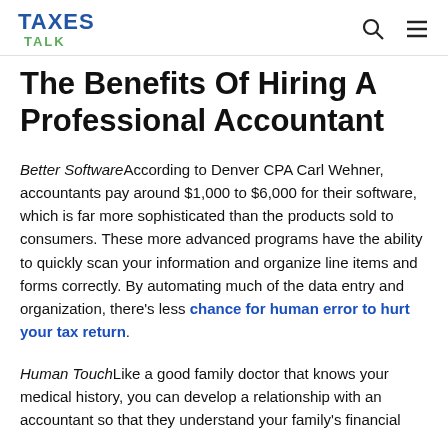TAXES TALK
The Benefits Of Hiring A Professional Accountant
Better Software According to Denver CPA Carl Wehner, accountants pay around $1,000 to $6,000 for their software, which is far more sophisticated than the products sold to consumers. These more advanced programs have the ability to quickly scan your information and organize line items and forms correctly. By automating much of the data entry and organization, there's less chance for human error to hurt your tax return.
Human Touch Like a good family doctor that knows your medical history, you can develop a relationship with an accountant so that they understand your family's financial